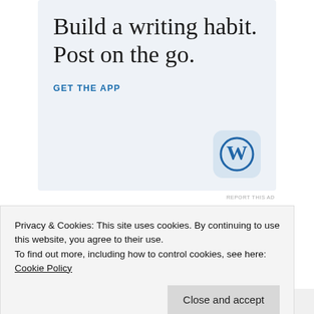[Figure (illustration): WordPress app advertisement with light blue background. Large serif text says 'Build a writing habit. Post on the go.' with a 'GET THE APP' link in blue uppercase and a WordPress 'W' logo icon in the bottom right.]
REPORT THIS AD
Share this:
[Figure (illustration): Row of circular social sharing icons: grey, grey, blue (Twitter), blue (Facebook), grey, and more.]
Privacy & Cookies: This site uses cookies. By continuing to use this website, you agree to their use.
To find out more, including how to control cookies, see here: Cookie Policy
Close and accept
Related